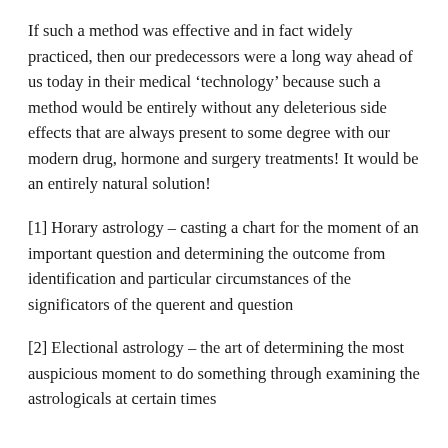If such a method was effective and in fact widely practiced, then our predecessors were a long way ahead of us today in their medical ‘technology’ because such a method would be entirely without any deleterious side effects that are always present to some degree with our modern drug, hormone and surgery treatments! It would be an entirely natural solution!
[1] Horary astrology – casting a chart for the moment of an important question and determining the outcome from identification and particular circumstances of the significators of the querent and question
[2] Electional astrology – the art of determining the most auspicious moment to do something through examining the astrologicals at certain times